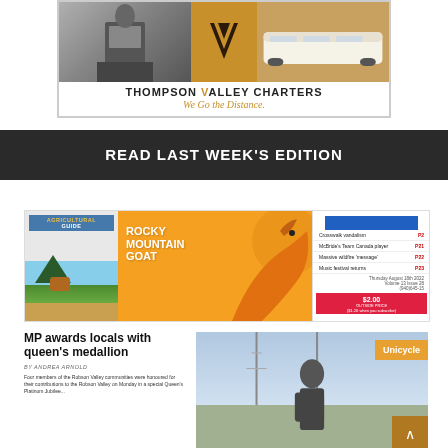[Figure (illustration): Thompson Valley Charters advertisement with bus photos, brown/gold logo V shape in center, company name and tagline 'We Go the Distance.']
READ LAST WEEK'S EDITION
[Figure (screenshot): Rocky Mountain Goat newspaper front page preview showing Agricultural Guide insert, Rocky Mountain Goat masthead with orange goat silhouette, sidebar with headlines: Crosswalk vandalism P2, McBride's Team Canada player P21, Massive wildfire 'message' P22, Music festival returns P23. Dated Thursday August 18th 2022, Volume 13 Issue 28. Price $2.00.]
MP awards locals with queen's medallion
By Andrea Arnold
Four members of the Robson Valley communities were honoured for their contributions to the Robson Valley on Monday in a special Queen's Platinum Jubilee...
[Figure (photo): Photo of a man outdoors with utility poles/sky background, with orange 'Unicycle' badge overlay and golden scroll-to-top button]